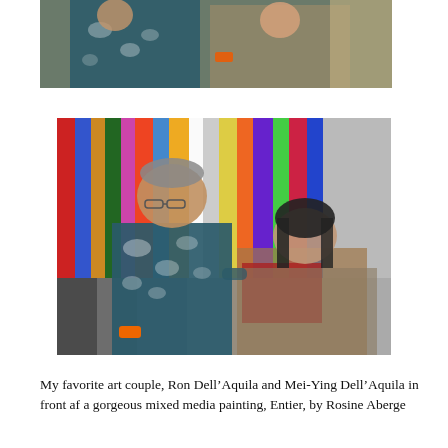[Figure (photo): Photo of two people smiling, one in a floral Hawaiian shirt, cropped at top of page]
[Figure (photo): Photo of Ron Dell'Aquila and Mei-Ying Dell'Aquila standing in front of a colorful mixed media painting by Rosine Aberge. Man on left wearing a teal floral Hawaiian shirt, woman on right wearing a red top with a tan wrap.]
My favorite art couple, Ron Dell’Aquila and Mei-Ying Dell’Aquila in front af a gorgeous mixed media painting, Entier, by Rosine Aberge